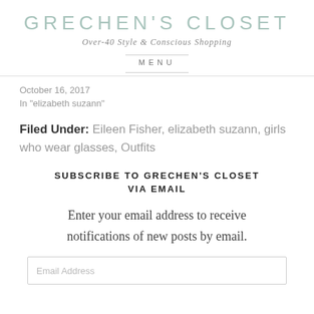GRECHEN'S CLOSET
Over-40 Style & Conscious Shopping
MENU
October 16, 2017
In "elizabeth suzann"
Filed Under: Eileen Fisher, elizabeth suzann, girls who wear glasses, Outfits
SUBSCRIBE TO GRECHEN'S CLOSET VIA EMAIL
Enter your email address to receive notifications of new posts by email.
Email Address